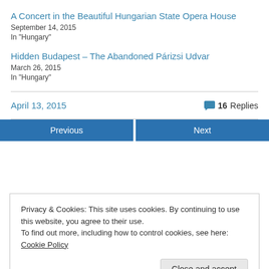A Concert in the Beautiful Hungarian State Opera House
September 14, 2015
In "Hungary"
Hidden Budapest – The Abandoned Párizsi Udvar
March 26, 2015
In "Hungary"
April 13, 2015
16 Replies
Previous | Next
Privacy & Cookies: This site uses cookies. By continuing to use this website, you agree to their use.
To find out more, including how to control cookies, see here: Cookie Policy
Close and accept
are marked *